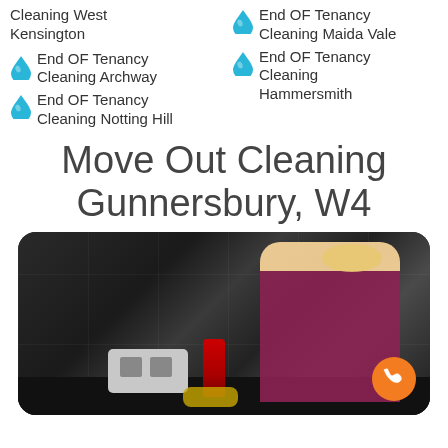Cleaning West Kensington
End OF Tenancy Cleaning Archway
End OF Tenancy Cleaning Notting Hill
End OF Tenancy Cleaning Maida Vale
End OF Tenancy Cleaning Hammersmith
Move Out Cleaning Gunnersbury, W4
[Figure (photo): Woman in dark red top cleaning a kitchen counter with dark tile wall background, toaster and cleaning bottle visible]